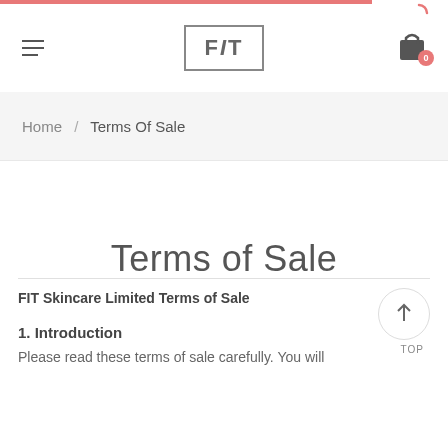FIT [logo with hamburger menu and cart icon with badge 0]
Home / Terms Of Sale
Terms of Sale
FIT Skincare Limited Terms of Sale
1. Introduction
Please read these terms of sale carefully. You will